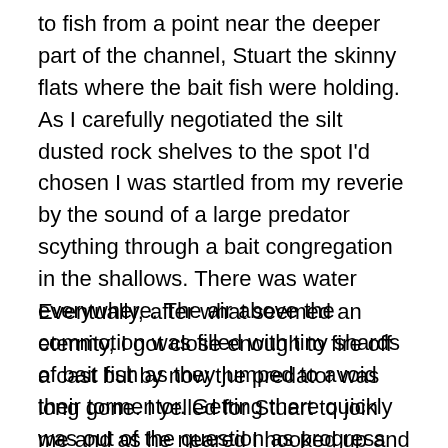to fish from a point near the deeper part of the channel, Stuart the skinny flats where the bait fish were holding. As I carefully negotiated the silt dusted rock shelves to the spot I'd chosen I was startled from my reverie by the sound of a large predator scything through a bait congregation in the shallows. There was water everywhere. The air above the commotion was filled with tiny shards of bait fish as they jumped to avoid their tormentor. Getting there quickly was out of the question as progress was more by slip and slide than regular footstep.
Eventually, after what seemed an eternity, I got close enough to fire off a cast but by now the predator was long gone. I yelled for Stuart to join me and as he neared I hooked up and landed a 15cm kahawai. Nothing much happen for 15 minutes so I decided to head off to the far end of the bay, a 15 minute walk, as I was sure the